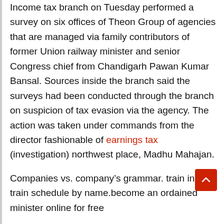Income tax branch on Tuesday performed a survey on six offices of Theon Group of agencies that are managed via family contributors of former Union railway minister and senior Congress chief from Chandigarh Pawan Kumar Bansal. Sources inside the branch said the surveys had been conducted through the branch on suspicion of tax evasion via the agency. The action was taken under commands from the director fashionable of earnings tax (investigation) northwest place, Madhu Mahajan.
Companies vs. company’s grammar. train inquiry train schedule by name.become an ordained minister online for free
Different groups of the department, led with the aid senior officials from Punjab and Haryana, commenced the survey at all of the organization’s premises